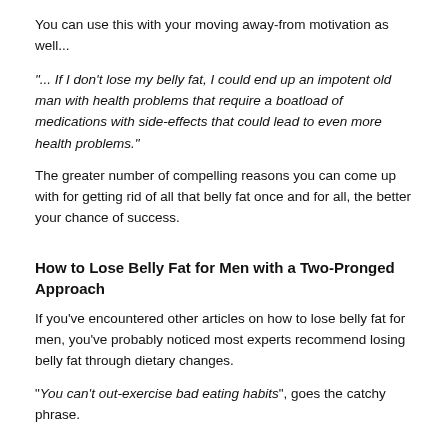outcomes, which provides more reasons.
You can use this with your moving away-from motivation as well...
"... If I don't lose my belly fat, I could end up an impotent old man with health problems that require a boatload of medications with side-effects that could lead to even more health problems."
The greater number of compelling reasons you can come up with for getting rid of all that belly fat once and for all, the better your chance of success.
How to Lose Belly Fat for Men with a Two-Pronged Approach
If you've encountered other articles on how to lose belly fat for men, you've probably noticed most experts recommend losing belly fat through dietary changes.
"You can't out-exercise bad eating habits", goes the catchy phrase.